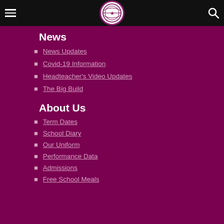School navigation header with hamburger menu, school logo, and search icon
News
News Updates
Covid-19 Information
Headteacher's Video Updates
The Big Build
About Us
Term Dates
School Diary
Our Uniform
Performance Data
Admissions
Free School Meals